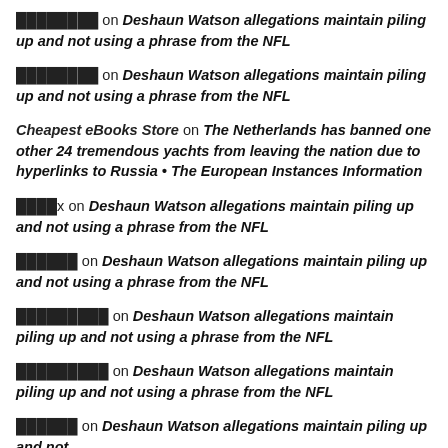████████ on Deshaun Watson allegations maintain piling up and not using a phrase from the NFL
████████ on Deshaun Watson allegations maintain piling up and not using a phrase from the NFL
Cheapest eBooks Store on The Netherlands has banned one other 24 tremendous yachts from leaving the nation due to hyperlinks to Russia • The European Instances Information
████x on Deshaun Watson allegations maintain piling up and not using a phrase from the NFL
██████ on Deshaun Watson allegations maintain piling up and not using a phrase from the NFL
█████████ on Deshaun Watson allegations maintain piling up and not using a phrase from the NFL
█████████ on Deshaun Watson allegations maintain piling up and not using a phrase from the NFL
██████ on Deshaun Watson allegations maintain piling up and not